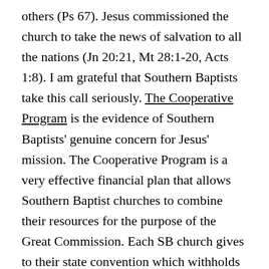others (Ps 67). Jesus commissioned the church to take the news of salvation to all the nations (Jn 20:21, Mt 28:1-20, Acts 1:8). I am grateful that Southern Baptists take this call seriously. The Cooperative Program is the evidence of Southern Baptists' genuine concern for Jesus' mission. The Cooperative Program is a very effective financial plan that allows Southern Baptist churches to combine their resources for the purpose of the Great Commission. Each SB church gives to their state convention which withholds a portion of the funding for state mission work and sends the rest to the SBC. The SBC divides those funds between its entities for Great Commission